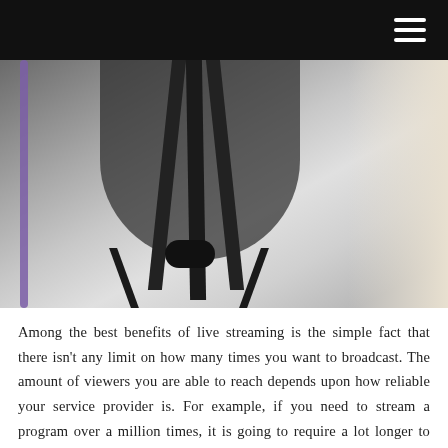[Figure (photo): A person in a white shirt carrying a black camera tripod, with a purple cable visible on the left. The scene appears to be indoors in a corridor or hallway.]
Among the best benefits of live streaming is the simple fact that there isn't any limit on how many times you want to broadcast. The amount of viewers you are able to reach depends upon how reliable your service provider is. For example, if you need to stream a program over a million times, it is going to require a lot longer to upload than if you used a normal connection. If your Internet connection is slow,